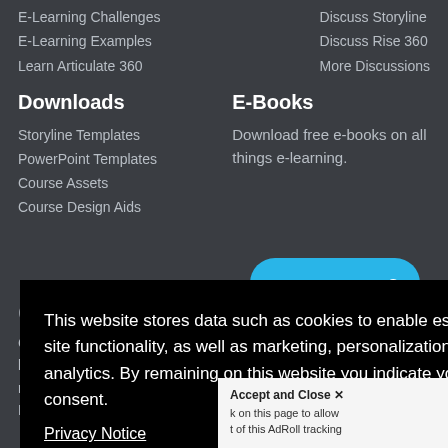E-Learning Challenges
E-Learning Examples
Learn Articulate 360
Discuss Storyline
Discuss Rise 360
More Discussions
Downloads
Storyline Templates
PowerPoint Templates
Course Assets
Course Design Aids
E-Books
Download free e-books on all things e-learning.
This website stores data such as cookies to enable essential site functionality, as well as marketing, personalization, and analytics. By remaining on this website you indicate your consent.
Privacy Notice
Accept and Close ✕
k on this page to allow t of this AdRoll tracking